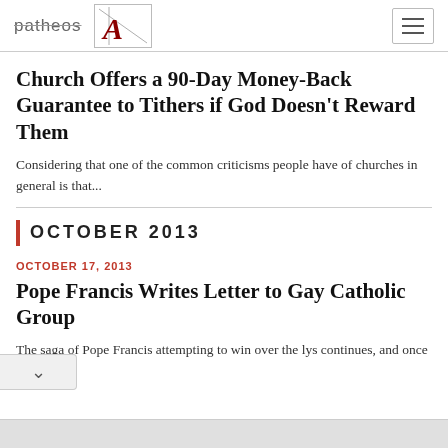patheos | A
Church Offers a 90-Day Money-Back Guarantee to Tithers if God Doesn't Reward Them
Considering that one of the common criticisms people have of churches in general is that...
OCTOBER 2013
OCTOBER 17, 2013
Pope Francis Writes Letter to Gay Catholic Group
The saga of Pope Francis attempting to win over the lys continues, and once again,...